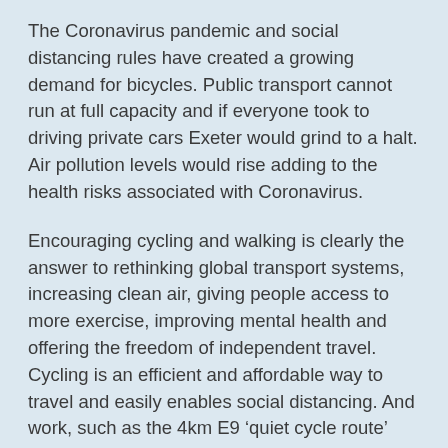The Coronavirus pandemic and social distancing rules have created a growing demand for bicycles. Public transport cannot run at full capacity and if everyone took to driving private cars Exeter would grind to a halt. Air pollution levels would rise adding to the health risks associated with Coronavirus.
Encouraging cycling and walking is clearly the answer to rethinking global transport systems, increasing clean air, giving people access to more exercise, improving mental health and offering the freedom of independent travel. Cycling is an efficient and affordable way to travel and easily enables social distancing. And work, such as the 4km E9 ‘quiet cycle route’ from Newcourt/Pynes Hill to the city centre, will make roads safer for cyclists and pedestrians.
Donate your old bikes